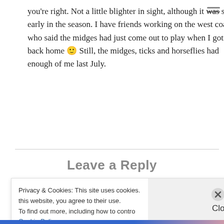you're right. Not a little blighter in sight, although it was still early in the season. I have friends working on the west coast who said the midges had just come out to play when I got back home 🙂 Still, the midges, ticks and horseflies had enough of me last July.
Reply
Leave a Reply
Privacy & Cookies: This site uses cookies. this website, you agree to their use. To find out more, including how to contro Cookie Policy
Close and accept